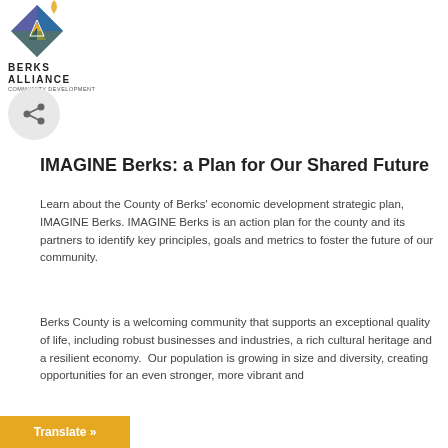[Figure (logo): Berks Alliance Community Development logo — diamond shape with house/mountain icon in blue, purple, yellow; text reads BERKS ALLIANCE COMMUNITY DEVELOPMENT]
[Figure (other): Share icon button — circular gray background with share/network icon]
IMAGINE Berks: a Plan for Our Shared Future
Learn about the County of Berks' economic development strategic plan, IMAGINE Berks. IMAGINE Berks is an action plan for the county and its partners to identify key principles, goals and metrics to foster the future of our community.
Berks County is a welcoming community that supports an exceptional quality of life, including robust businesses and industries, a rich cultural heritage and a resilient economy.  Our population is growing in size and diversity, creating opportunities for an even stronger, more vibrant and
[Figure (other): Translate button — gold/yellow background with white text reading 'Translate »']